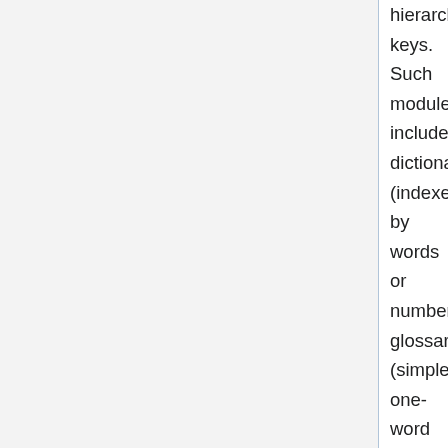hierarchical keys. Such modules include: dictionaries (indexed by words or numbers), glossaries (simple one-word translation dictionaries), and daily devotionals (indexed by dates).
For lexicons and dictionaries, the use of Text Encoding Initiative P5 markup is encouraged. TEI P5 is an XML standard, quite similar to OSIS and ThML, intended for encoding all types of electronic documents. Since TEI is modular, it is possible to ignore the majority of its modules and use only a smaller set of tags necessary to our needs.
For the purpose using TEI P5 in SWORD, we have developed a special XML Schema that includes the basic set of P5 modules necessary for dictionaries and adds osisID and osisRef attributes